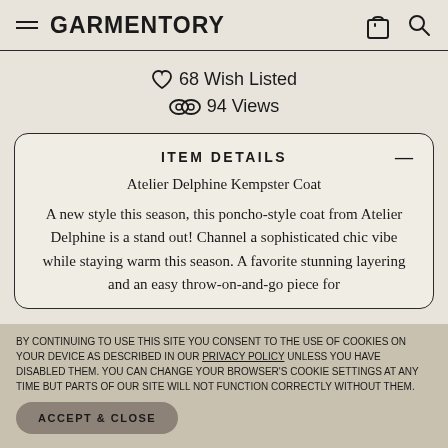GARMENTORY
♡ 68 Wish Listed
◯◯ 94 Views
ITEM DETAILS
Atelier Delphine Kempster Coat
A new style this season, this poncho-style coat from Atelier Delphine is a stand out! Channel a sophisticated chic vibe while staying warm this season. A favorite stunning layering and an easy throw-on-and-go piece for
BY CONTINUING TO USE THIS SITE YOU CONSENT TO THE USE OF COOKIES ON YOUR DEVICE AS DESCRIBED IN OUR PRIVACY POLICY UNLESS YOU HAVE DISABLED THEM. YOU CAN CHANGE YOUR BROWSER'S COOKIE SETTINGS AT ANY TIME BUT PARTS OF OUR SITE WILL NOT FUNCTION CORRECTLY WITHOUT THEM.
ACCEPT & CLOSE